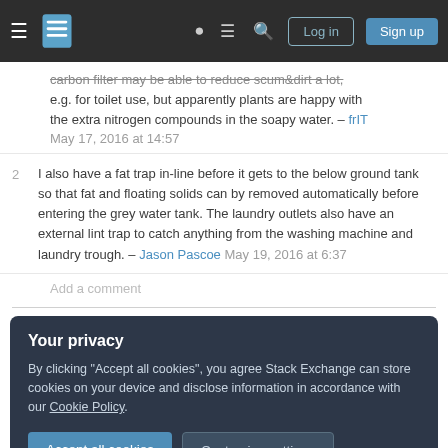Stack Exchange navigation header with hamburger menu, logo, help, chat, search icons, Log in and Sign up buttons
carbon filter may be able to reduce scum&dirt a lot, e.g. for toilet use, but apparently plants are happy with the extra nitrogen compounds in the soapy water. – frIT May 17, 2016 at 14:57
2 I also have a fat trap in-line before it gets to the below ground tank so that fat and floating solids can by removed automatically before entering the grey water tank. The laundry outlets also have an external lint trap to catch anything from the washing machine and laundry trough. – Jason Pascoe May 19, 2016 at 6:37
Add a comment
Your privacy
By clicking "Accept all cookies", you agree Stack Exchange can store cookies on your device and disclose information in accordance with our Cookie Policy.
Accept all cookies
Customize settings
in when the tank was empty and no way would fill